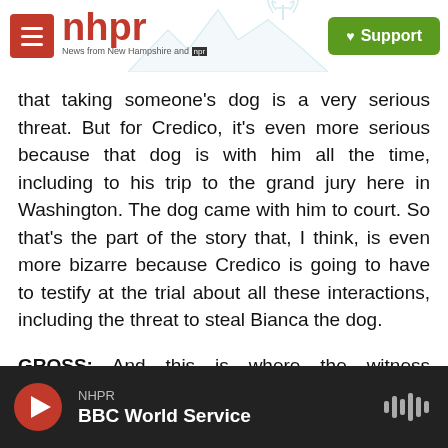nhpr — News from New Hampshire and NPR | Support
that taking someone's dog is a very serious threat. But for Credico, it's even more serious because that dog is with him all the time, including to his trip to the grand jury here in Washington. The dog came with him to court. So that's the part of the story that, I think, is even more bizarre because Credico is going to have to testify at the trial about all these interactions, including the threat to steal Bianca the dog.
GROSS: And this is where the witness tampering comes in.
NHPR — BBC World Service